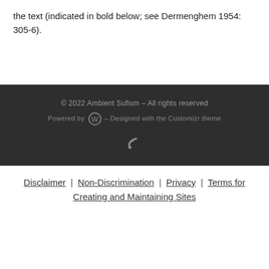the text (indicated in bold below; see Dermenghem 1954: 305-6).
© 2022 Ambient Sufism – All rights reserved
Powered by WordPress – Designed with the Customizr theme
Disclaimer | Non-Discrimination | Privacy | Terms for Creating and Maintaining Sites